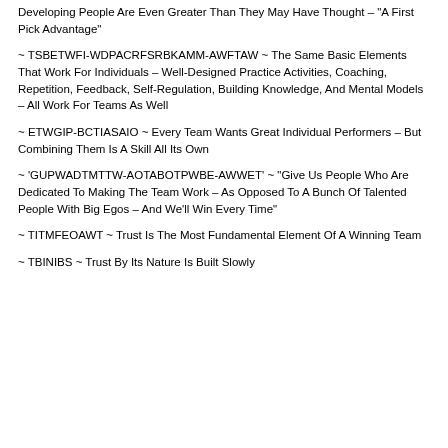Developing People Are Even Greater Than They May Have Thought – "A First Pick Advantage"
~ TSBETWFI-WDPACRFSRBKAMM-AWFTAW ~ The Same Basic Elements That Work For Individuals – Well-Designed Practice Activities, Coaching, Repetition, Feedback, Self-Regulation, Building Knowledge, And Mental Models – All Work For Teams As Well
~ ETWGIP-BCTIASAIO ~ Every Team Wants Great Individual Performers – But Combining Them Is A Skill All Its Own
~ 'GUPWADTMTTW-AOTABOTPWBE-AWWET' ~ "Give Us People Who Are Dedicated To Making The Team Work – As Opposed To A Bunch Of Talented People With Big Egos – And We'll Win Every Time"
~ TITMFEOAWT ~ Trust Is The Most Fundamental Element Of A Winning Team
~ TBINIBS ~ Trust By Its Nature Is Built Slowly